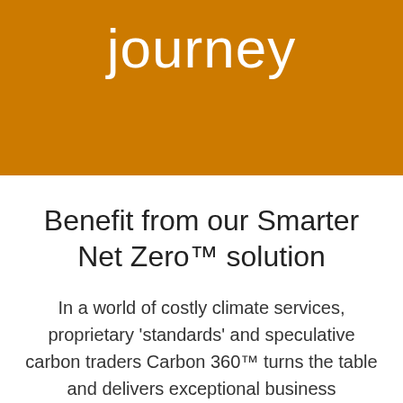journey
Benefit from our Smarter Net Zero™ solution
In a world of costly climate services, proprietary 'standards' and speculative carbon traders Carbon 360™ turns the table and delivers exceptional business